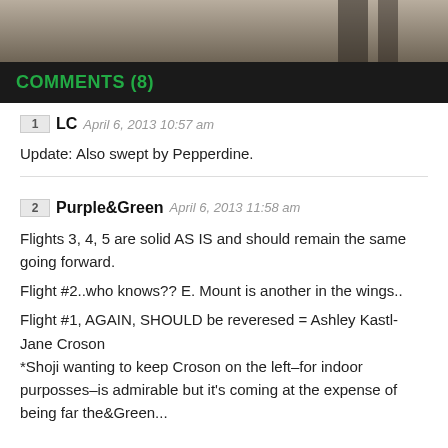[Figure (photo): Partial photo showing a person standing on what appears to be a gym or court floor, cropped to top portion]
COMMENTS (8)
1 LC April 6, 2013 10:57 am
Update: Also swept by Pepperdine.
2 Purple&Green April 6, 2013 11:58 am
Flights 3, 4, 5 are solid AS IS and should remain the same going forward.
Flight #2..who knows?? E. Mount is another in the wings..
Flight #1, AGAIN, SHOULD be reveresed = Ashley Kastl-Jane Croson
*Shoji wanting to keep Croson on the left–for indoor purposses–is admirable but it's coming at the expense of being far the...